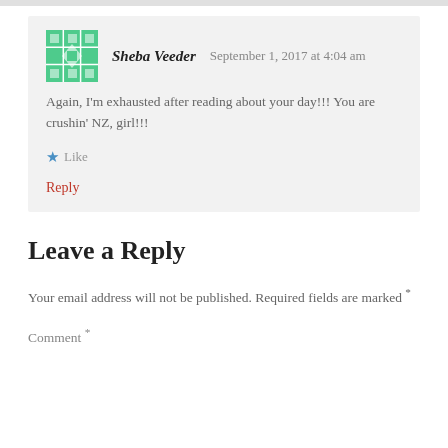Sheba Veeder   September 1, 2017 at 4:04 am
Again, I'm exhausted after reading about your day!!! You are crushin' NZ, girl!!!
Like
Reply
Leave a Reply
Your email address will not be published. Required fields are marked *
Comment *